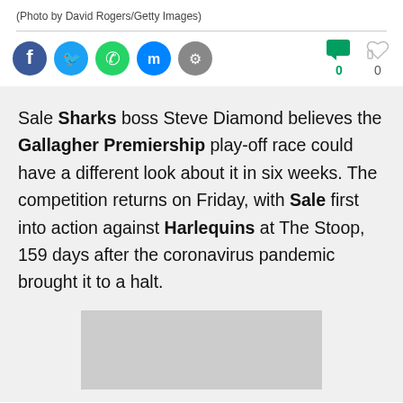(Photo by David Rogers/Getty Images)
[Figure (infographic): Social media share buttons: Facebook, Twitter, WhatsApp, Messenger, Link. Comment and like reaction counters showing 0 each.]
Sale Sharks boss Steve Diamond believes the Gallagher Premiership play-off race could have a different look about it in six weeks. The competition returns on Friday, with Sale first into action against Harlequins at The Stoop, 159 days after the coronavirus pandemic brought it to a halt.
[Figure (photo): Partially visible image placeholder at the bottom of the page.]